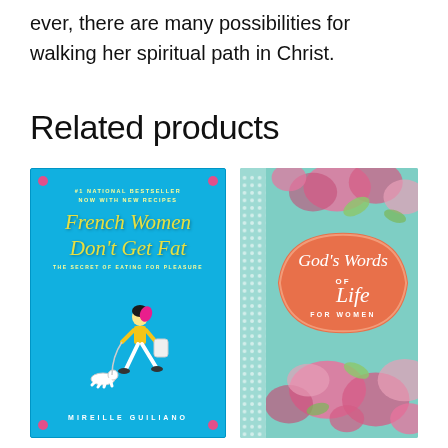ever, there are many possibilities for walking her spiritual path in Christ.
Related products
[Figure (photo): Book cover of 'French Women Don't Get Fat' by Mireille Guiliano. Blue cover with yellow script title, illustration of a stylish woman walking a dog.]
[Figure (photo): Book cover of 'God's Words of Life for Women'. Teal/mint floral cover with an orange badge-shaped label featuring the title in script.]